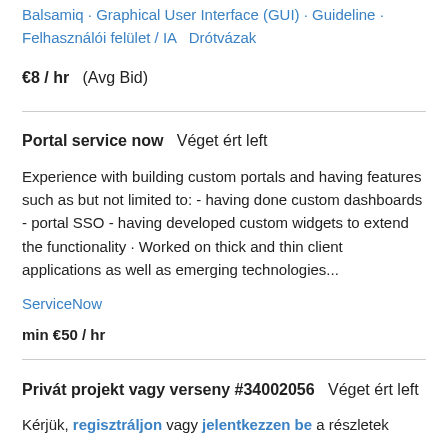Balsamiq · Graphical User Interface (GUI) · Guideline · Felhasználói felület / IA   Drótvázak
€8 / hr  (Avg Bid)
Portal service now   Véget ért left
Experience with building custom portals and having features such as but not limited to: - having done custom dashboards - portal SSO - having developed custom widgets to extend the functionality · Worked on thick and thin client applications as well as emerging technologies...
ServiceNow
min €50 / hr
Privát projekt vagy verseny #34002056   Véget ért left
Kérjük, regisztráljon vagy jelentkezzen be a részletek